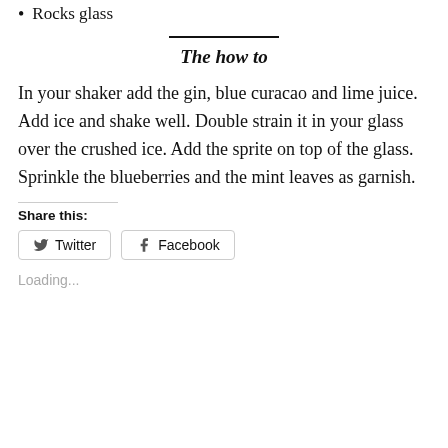Rocks glass
The how to
In your shaker add the gin, blue curacao and lime juice. Add ice and shake well. Double strain it in your glass over the crushed ice. Add the sprite on top of the glass. Sprinkle the blueberries and the mint leaves as garnish.
Share this:
Twitter
Facebook
Loading...